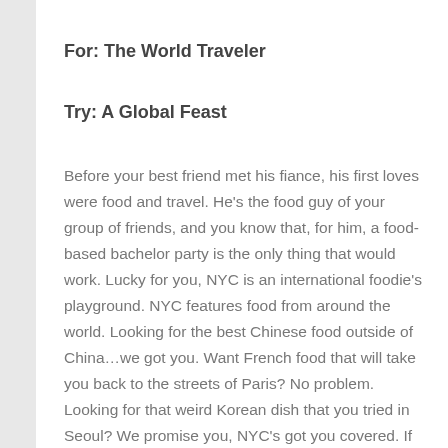For: The World Traveler
Try: A Global Feast
Before your best friend met his fiance, his first loves were food and travel. He's the food guy of your group of friends, and you know that, for him, a food-based bachelor party is the only thing that would work. Lucky for you, NYC is an international foodie's playground. NYC features food from around the world. Looking for the best Chinese food outside of China…we got you. Want French food that will take you back to the streets of Paris? No problem. Looking for that weird Korean dish that you tried in Seoul? We promise you, NYC's got you covered. If the groom-to-be has a particular place in the world